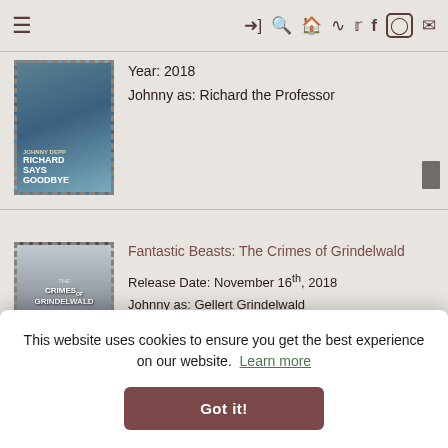≡ →] 🔍 🏠 RSS Twitter Facebook Instagram Mail
[Figure (screenshot): Movie poster for Richard Says Goodbye with blue-teal background showing a man walking]
Year: 2018
Johnny as: Richard the Professor
[Figure (screenshot): Movie poster for Fantastic Beasts: The Crimes of Grindelwald showing group of people in dark coats]
Fantastic Beasts: The Crimes of Grindelwald
Release Date: November 16th, 2018
Johnny as: Gellert Grindelwald
[Figure (screenshot): Partial movie poster at bottom of page]
(voice)
This website uses cookies to ensure you get the best experience on our website.  Learn more
Got it!